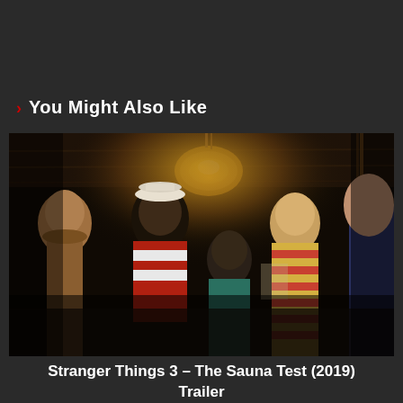You Might Also Like
[Figure (photo): Scene from Stranger Things 3 showing four young characters gathered together indoors under a hanging lamp in a dimly lit room. One character wears a striped shirt, another wears a sailor-style hat with a red and white athletic outfit.]
Stranger Things 3 – The Sauna Test (2019) Trailer